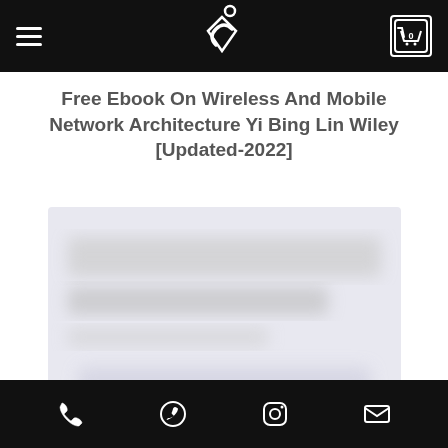Free Ebook On Wireless And Mobile Network Architecture Yi Bing Lin Wiley [Updated-2022]
[Figure (photo): Blurred book cover image of a wireless and mobile network architecture textbook]